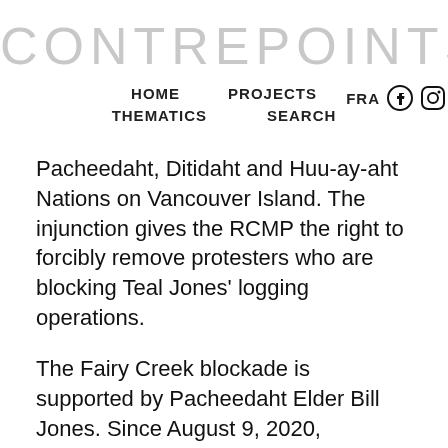CONTREPOINTS
HOME   PROJECTS   FRA   [Facebook] [Instagram]
THEMATICS   SEARCH
Pacheedaht, Ditidaht and Huu-ay-aht Nations on Vancouver Island. The injunction gives the RCMP the right to forcibly remove protesters who are blocking Teal Jones' logging operations.
The Fairy Creek blockade is supported by Pacheedaht Elder Bill Jones. Since August 9, 2020, protesters have been blocking access to Teal Jones employees in an effort to prevent logging from the old-growth forest to...